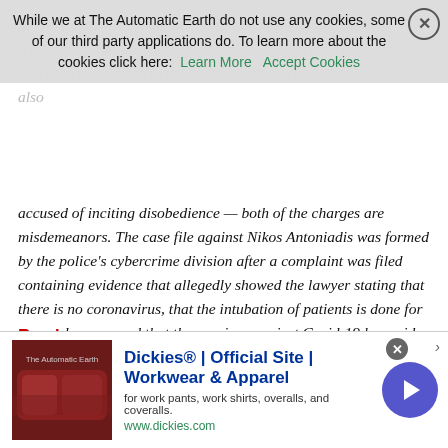accused of inciting disobedience — both of the charges are misdemeanors. The case file against Nikos Antoniadis was formed by the police's cybercrime division after a complaint was filed containing evidence that allegedly showed the lawyer stating that there is no coronavirus, that the intubation of patients is done for no good reason and that the vaccines against Covid-19 have side effects. His arrest was ordered by the Athens Prosecutor's Office, which has been conducting relevant investigations for a long time about the activities of anti-vaxxers. Antoniadis was later released and the prosecutor will decide whether to proceed with the prosecution or continue the preliminary investigation.
Read more …
[Figure (screenshot): Cookie consent banner overlay: 'While we at The Automatic Earth do not use any cookies, some of our third party applications do. To learn more about the cookies click here: Learn More | Accept Cookies' with a close (X) button]
[Figure (screenshot): Advertisement banner for Dickies® | Official Site | Workwear & Apparel. Shows product image (dark red/maroon leather furniture), ad title, subtitle 'for work pants, work shirts, overalls, and coveralls.', URL www.dickies.com, and a right-arrow navigation button. Has a close (x) button and an info (i) marker.]